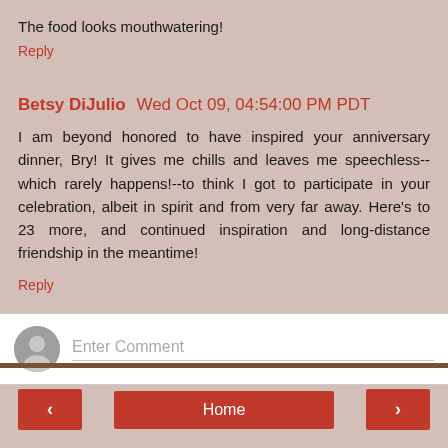The food looks mouthwatering!
Reply
Betsy DiJulio  Wed Oct 09, 04:54:00 PM PDT
I am beyond honored to have inspired your anniversary dinner, Bry! It gives me chills and leaves me speechless--which rarely happens!--to think I got to participate in your celebration, albeit in spirit and from very far away. Here's to 23 more, and continued inspiration and long-distance friendship in the meantime!
Reply
Enter Comment
Home